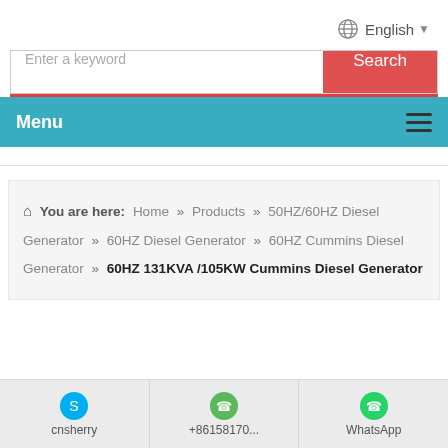English (language selector)
Enter a keyword
Search
Menu
You are here: Home » Products » 50HZ/60HZ Diesel Generator » 60HZ Diesel Generator » 60HZ Cummins Diesel Generator » 60HZ 131KVA /105KW Cummins Diesel Generator
cnsherry | +86158170... | WhatsApp